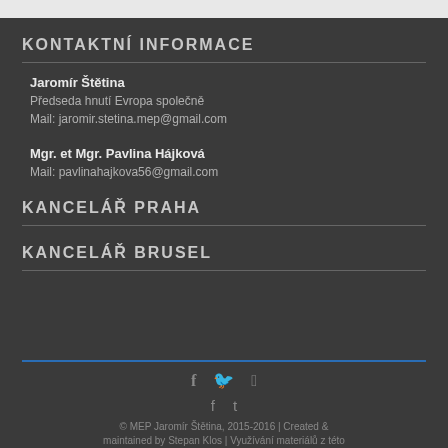KONTAKTNÍ INFORMACE
Jaromír Štětina
Předseda hnutí Evropa společně
Mail: jaromir.stetina.mep@gmail.com
Mgr. et Mgr. Pavlina Hájková
Mail: pavlinahajkova56@gmail.com
KANCELÁŘ PRAHA
KANCELÁŘ BRUSEL
© MEP Jaromír Štětina, 2015-2016 | Created & maintained by Stepan Klos | Využívání materiálů z této